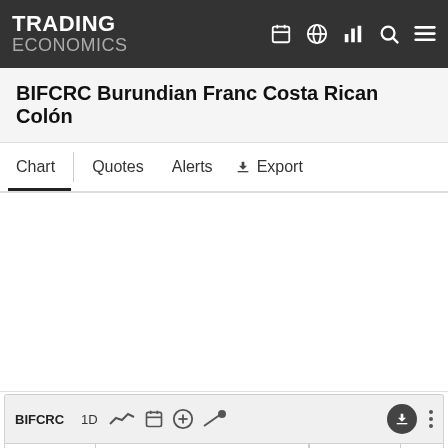TRADING ECONOMICS
BIFCRC Burundian Franc Costa Rican Colón
Chart  Quotes  Alerts  ↓ Export
BIFCRC  1D  Burundian Franc Costa Rican Colón  0.32464